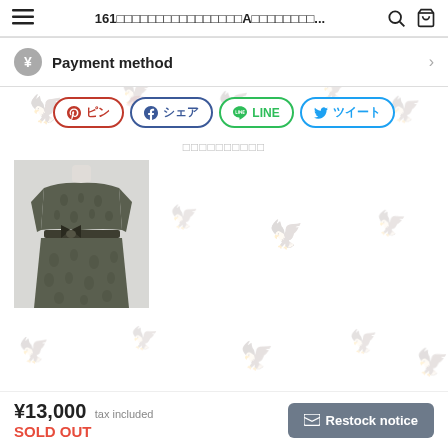161 A...
Payment method
[Figure (illustration): Social share buttons row: Pinterest (ピン), Facebook (シェア), LINE, Twitter (ツイート)]
関連するアイテム
[Figure (photo): Green/dark patterned sleeveless dress on a headless mannequin, with a bow/belt at the waist]
¥13,000 tax included
SOLD OUT
✉ Restock notice